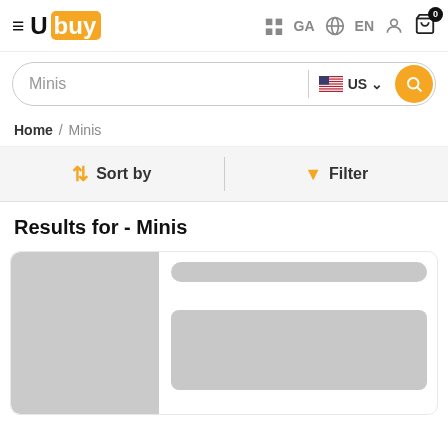Ubuy — GA EN
Minis — US search bar
Home / Minis
Sort by   Filter
Results for - Minis
[Figure (screenshot): Loading product card with grey image placeholder and grey text placeholders]